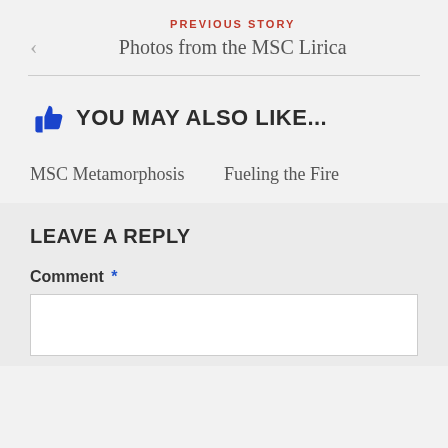PREVIOUS STORY
Photos from the MSC Lirica
YOU MAY ALSO LIKE...
MSC Metamorphosis
Fueling the Fire
LEAVE A REPLY
Comment *